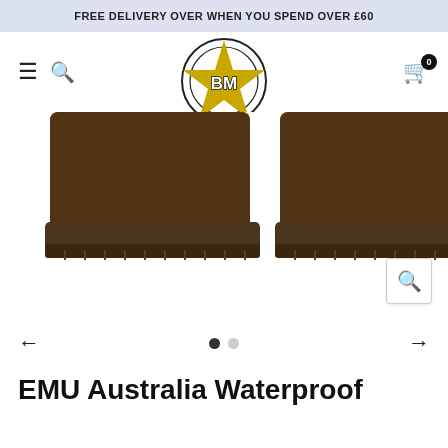FREE DELIVERY OVER WHEN YOU SPEND OVER £60
[Figure (logo): BM star logo with circular border and gold star, letters BM in center]
[Figure (photo): Close-up of EMU Australia waterproof boot soles, two boots shown side by side on white background]
EMU Australia Waterproof